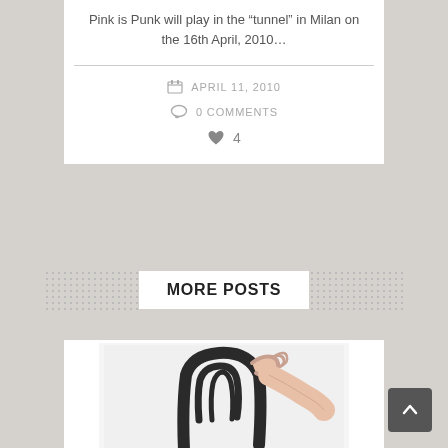Pink is Punk will play in the “tunnel” in Milan on the 16th April, 2010…
APRIL 11, 2010
0 COMMENTS
4
MORE POSTS
[Figure (photo): A hand holding a dark metal chair by its backrest against a white background]